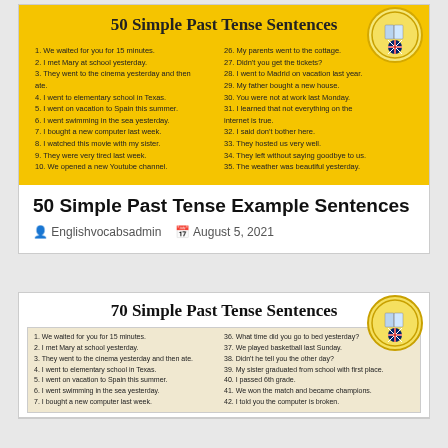[Figure (infographic): Yellow infographic card titled '50 Simple Past Tense Sentences' with two columns of numbered sentences on a yellow background, and an EnglishVocabs.com logo circle in the top right.]
50 Simple Past Tense Example Sentences
Englishvocabsadmin   August 5, 2021
[Figure (infographic): White/cream infographic card titled '70 Simple Past Tense Sentences' with two columns of numbered sentences, and an EnglishVocabs.com logo circle in the top right.]